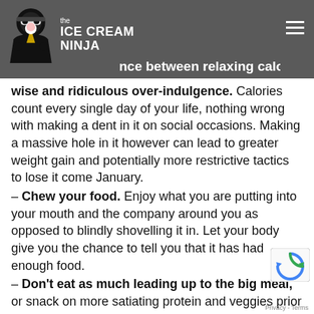the ICE CREAM NINJA
…difference between relaxing calorie wise and ridiculous over-indulgence. Calories count every single day of your life, nothing wrong with making a dent in it on social occasions. Making a massive hole in it however can lead to greater weight gain and potentially more restrictive tactics to lose it come January.
– Chew your food. Enjoy what you are putting into your mouth and the company around you as opposed to blindly shovelling it in. Let your body give you the chance to tell you that it has had enough food.
– Don't eat as much leading up to the big meal, or snack on more satiating protein and veggies prior to give that little bit of a calorie buffer before the over indulgence. Doing this also means you won't binge